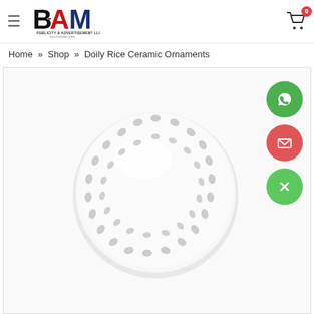BAM Publicity & Advertisement LLC — navigation header with hamburger menu and cart icon showing 0 items
Home » Shop » Doily Rice Ceramic Ornaments
[Figure (photo): White ceramic doily rice ornament ball — a round white ceramic sphere with decorative oval cutout patterns arranged in rings around its surface, photographed against a white background]
[Figure (other): WhatsApp contact button — green circle with white phone/chat icon]
[Figure (other): Email contact button — red/coral circle with white envelope icon]
[Figure (other): Close/dismiss button — green circle with white X icon]